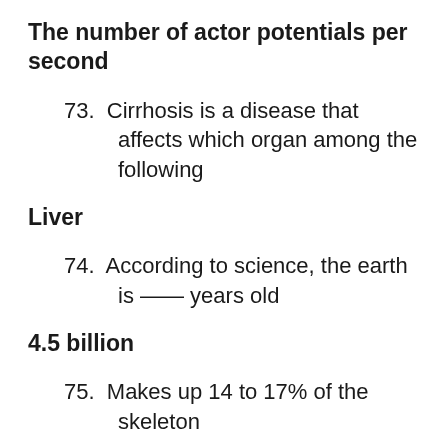The number of actor potentials per second
73. Cirrhosis is a disease that affects which organ among the following
Liver
74. According to science, the earth is —— years old
4.5 billion
75. Makes up 14 to 17% of the skeleton
Phosphorus
76. The vitamin that controls the Browning